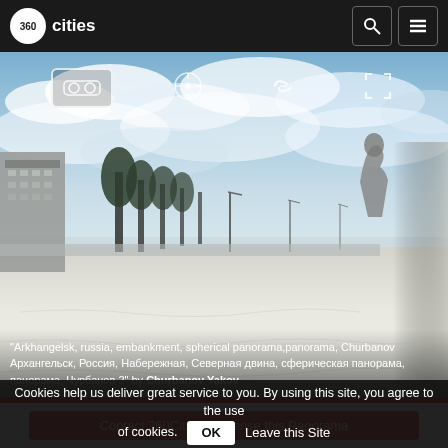360cities
[Figure (photo): 360-degree panoramic photo of Arkhangelsk embankment in winter. Snowy ground, trees, Soviet-era apartment buildings on the left, river embankment in the distance, cloudy sky, and a sculpture visible on the right side.]
"Arkhangelsk, russia, embankment, spherical panorama,panorama, Churbanov Архангельск, Россия, Набережная, Северная двина, сферическая панорама, панорама, Чурбанов 2" by Churbanov Yakov
Contact 360Cities to license this Panorama
Cookies help us deliver great service to you. By using this site, you agree to the use of cookies.  OK  Leave this Site